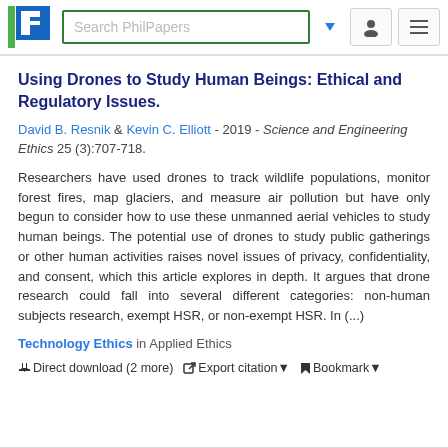Search PhilPapers
Using Drones to Study Human Beings: Ethical and Regulatory Issues.
David B. Resnik & Kevin C. Elliott - 2019 - Science and Engineering Ethics 25 (3):707-718.
Researchers have used drones to track wildlife populations, monitor forest fires, map glaciers, and measure air pollution but have only begun to consider how to use these unmanned aerial vehicles to study human beings. The potential use of drones to study public gatherings or other human activities raises novel issues of privacy, confidentiality, and consent, which this article explores in depth. It argues that drone research could fall into several different categories: non-human subjects research, exempt HSR, or non-exempt HSR. In (...)
Technology Ethics in Applied Ethics
Direct download (2 more)  Export citation  Bookmark